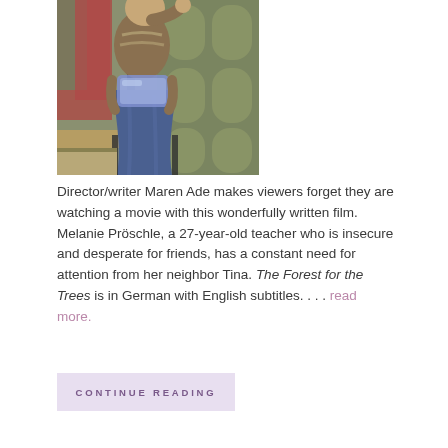[Figure (photo): A person sitting on a chair, wearing a brown sweater and jeans, holding a blue container/box. The background shows a patterned wall and some coats hanging.]
Director/writer Maren Ade makes viewers forget they are watching a movie with this wonderfully written film. Melanie Pröschle, a 27-year-old teacher who is insecure and desperate for friends, has a constant need for attention from her neighbor Tina. The Forest for the Trees is in German with English subtitles. . . . read more.
CONTINUE READING